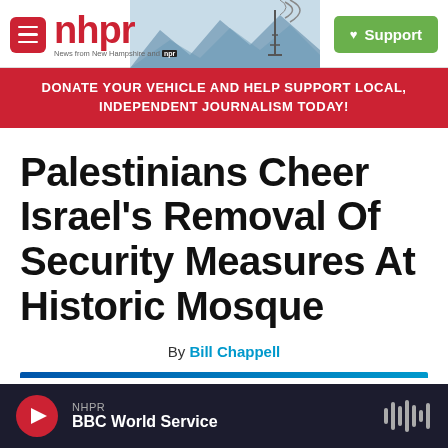nhpr — News from New Hampshire and NPR
DONATE YOUR VEHICLE AND HELP SUPPORT LOCAL, INDEPENDENT JOURNALISM TODAY!
Palestinians Cheer Israel's Removal Of Security Measures At Historic Mosque
By Bill Chappell
NHPR — BBC World Service